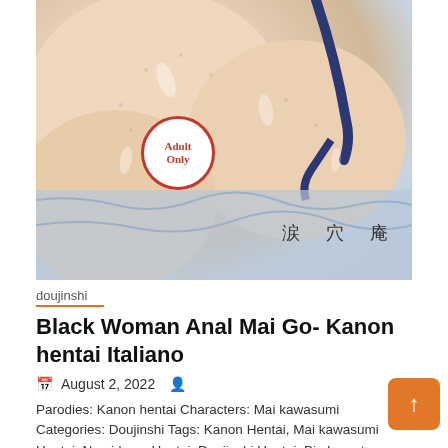[Figure (illustration): Anime/manga style adult illustration cover image with 'Adult Only' badge and Japanese text '涙穴庵'. Features a dark blue bikini strap detail and blue/white bedsheet background.]
doujinshi
Black Woman Anal Mai Go- Kanon hentai Italiano
August 2, 2022
Parodies: Kanon hentai Characters: Mai kawasumi Categories: Doujinshi Tags: Kanon Hentai, Mai kawasumi Hentai, Namidame Hentai, Doujinshi Hentai, Big breasts